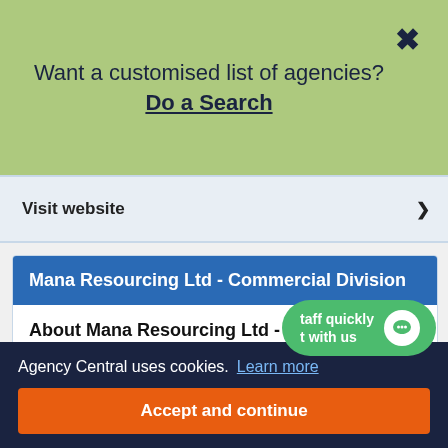Want a customised list of agencies? Do a Search
Visit website
Mana Resourcing Ltd - Commercial Division
About Mana Resourcing Ltd - Commercial Division
Mana Resourcing recruit for a wide variety of commercial, public sector, and professional organisations and has the ability and confidence to search in the following areas: Group Accountant, Financial Accountant, Management Accountant, Part Qualified Accountant, Senior Accountant, Manager, Pensions Audit, ...or, Tax Partner, Tax...
Agency Central uses cookies.  Learn more
Accept and continue
taff quickly
t with us
Assistant Accountant - Accounting & Finance